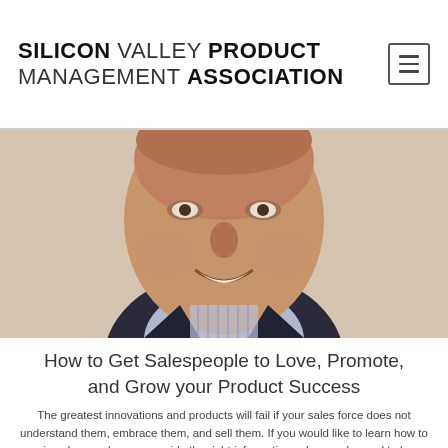SILICON VALLEY PRODUCT MANAGEMENT ASSOCIATION
[Figure (photo): Headshot of a smiling middle-aged man in a dark blazer and blue striped shirt, photo cropped from the shoulders up]
How to Get Salespeople to Love, Promote, and Grow your Product Success
The greatest innovations and products will fail if your sales force does not understand them, embrace them, and sell them. If you would like to learn how to win salespeople over, provide the right information salespeople need to be successful selling your products, and achieve your revenue